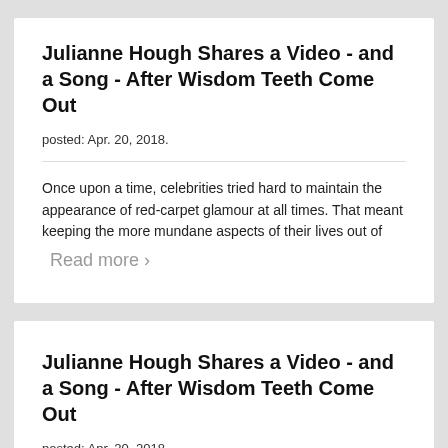Julianne Hough Shares a Video - and a Song - After Wisdom Teeth Come Out
posted: Apr. 20, 2018.
Once upon a time, celebrities tried hard to maintain the appearance of red-carpet glamour at all times. That meant keeping the more mundane aspects of their lives out of
Read more >
Julianne Hough Shares a Video - and a Song - After Wisdom Teeth Come Out
posted: Apr. 20, 2018.
Once upon a time, celebrities tried hard to maintain the appearance of red-carpet glamour at all times. That meant